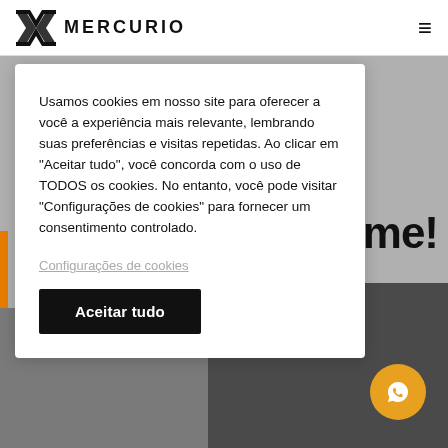[Figure (logo): Mercurio logo with stylized M icon and MERCURIO text]
Usamos cookies em nosso site para oferecer a você a experiência mais relevante, lembrando suas preferências e visitas repetidas. Ao clicar em "Aceitar tudo", você concorda com o uso de TODOS os cookies. No entanto, você pode visitar "Configurações de cookies" para fornecer um consentimento controlado.
Configurações de cookies
Aceitar tudo
[Figure (photo): Partial background website image with text 'ntime!' visible on right side and orange accent, with bottom showing industrial/coal photos]
[Figure (illustration): WhatsApp chat icon in orange circle at bottom right]